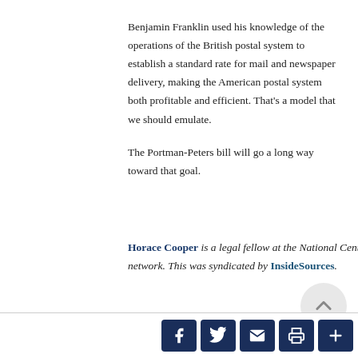Benjamin Franklin used his knowledge of the operations of the British postal system to establish a standard rate for mail and newspaper delivery, making the American postal system both profitable and efficient. That's a model that we should emulate.
The Portman-Peters bill will go a long way toward that goal.
Horace Cooper is a legal fellow at the National Center for Public Policy Research and co-chairman of the Project 21 black leadership network. This was syndicated by InsideSources.